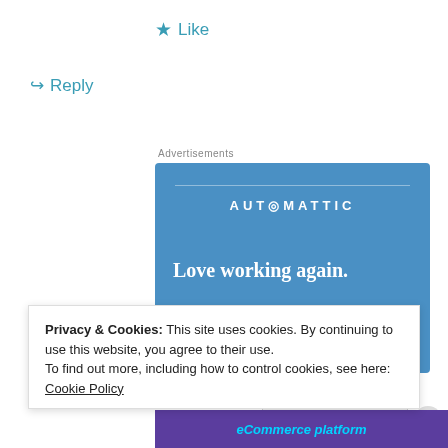★ Like
↪ Reply
Advertisements
[Figure (other): Automattic advertisement banner with blue background, text 'AUTOMATTIC', tagline 'Love working again.' and an 'Apply' button]
Privacy & Cookies: This site uses cookies. By continuing to use this website, you agree to their use.
To find out more, including how to control cookies, see here: Cookie Policy
Close and accept
[Figure (other): Purple banner with teal italic text 'eCommerce platform']